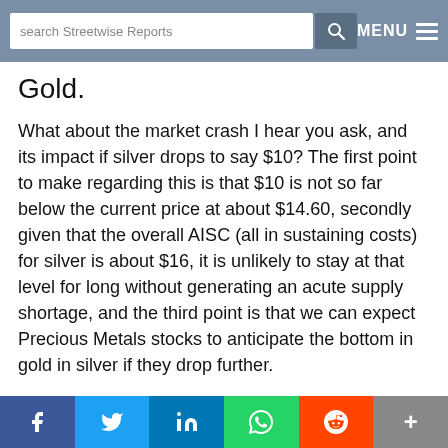search Streetwise Reports | MENU
Gold.
What about the market crash I hear you ask, and its impact if silver drops to say $10? The first point to make regarding this is that $10 is not so far below the current price at about $14.60, secondly given that the overall AISC (all in sustaining costs) for silver is about $16, it is unlikely to stay at that level for long without generating an acute supply shortage, and the third point is that we can expect Precious Metals stocks to anticipate the bottom in gold in silver if they drop further.
f | Twitter | in | WhatsApp | Reddit | +